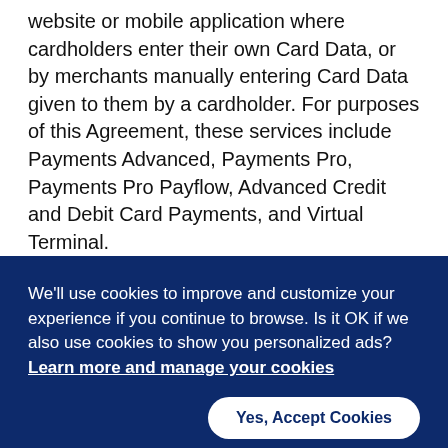website or mobile application where cardholders enter their own Card Data, or by merchants manually entering Card Data given to them by a cardholder. For purposes of this Agreement, these services include Payments Advanced, Payments Pro, Payments Pro Payflow, Advanced Credit and Debit Card Payments, and Virtual Terminal.
“Payments Advanced” means PayPal Payments Advanced (also known as Website Payments Pro Payflow Link Edition), which is the suite of Services
We’ll use cookies to improve and customize your experience if you continue to browse. Is it OK if we also use cookies to show you personalized ads? Learn more and manage your cookies